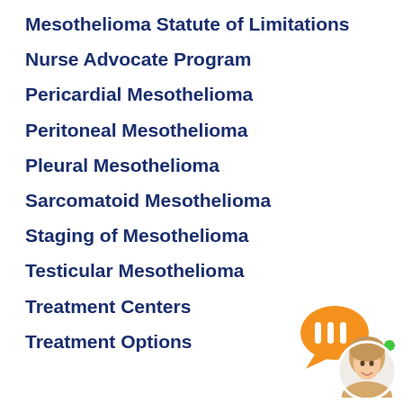Mesothelioma Statute of Limitations
Nurse Advocate Program
Pericardial Mesothelioma
Peritoneal Mesothelioma
Pleural Mesothelioma
Sarcomatoid Mesothelioma
Staging of Mesothelioma
Testicular Mesothelioma
Treatment Centers
Treatment Options
[Figure (illustration): Chat widget with orange speech bubble icon with vertical bars, and a circular avatar of a young woman with blonde hair, with a small green online indicator dot.]